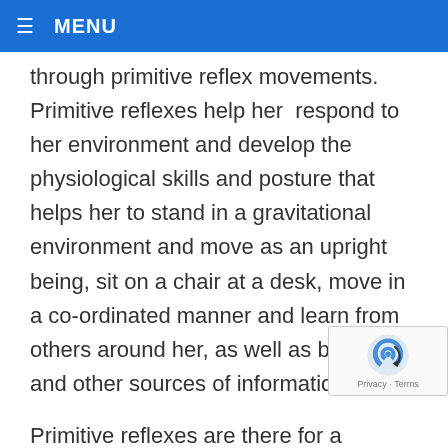≡ MENU
through primitive reflex movements.  Primitive reflexes help her  respond to her environment and develop the physiological skills and posture that helps her to stand in a gravitational environment and move as an upright being, sit on a chair at a desk, move in a co-ordinated manner and learn from others around her, as well as books and other sources of information.
Primitive reflexes are there for a specific job and once they achieve their purpose, they should be integrated and then replaced by postural reflexes.  If the primitive reflexes are still